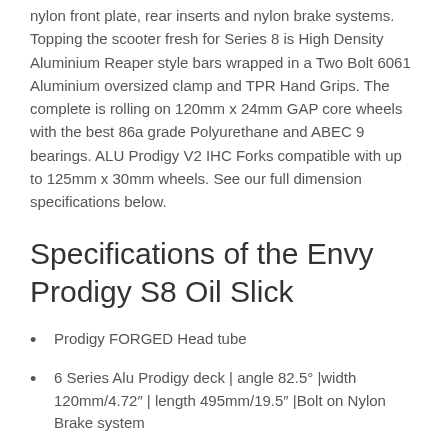nylon front plate, rear inserts and nylon brake systems. Topping the scooter fresh for Series 8 is High Density Aluminium Reaper style bars wrapped in a Two Bolt 6061 Aluminium oversized clamp and TPR Hand Grips. The complete is rolling on 120mm x 24mm GAP core wheels with the best 86a grade Polyurethane and ABEC 9 bearings. ALU Prodigy V2 IHC Forks compatible with up to 125mm x 30mm wheels. See our full dimension specifications below.
Specifications of the Envy Prodigy S8 Oil Slick
Prodigy FORGED Head tube
6 Series Alu Prodigy deck | angle 82.5° |width 120mm/4.72″ | length 495mm/19.5″ |Bolt on Nylon Brake system